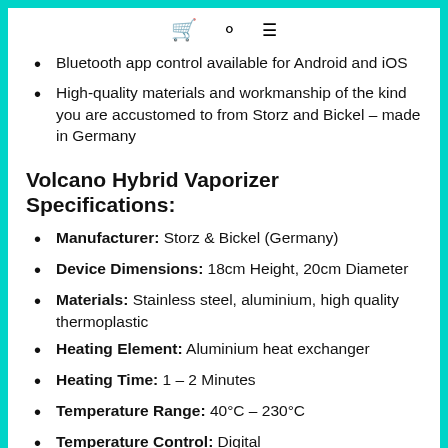cart search menu
Bluetooth app control available for Android and iOS
High-quality materials and workmanship of the kind you are accustomed to from Storz and Bickel – made in Germany
Volcano Hybrid Vaporizer Specifications:
Manufacturer: Storz & Bickel (Germany)
Device Dimensions: 18cm Height, 20cm Diameter
Materials: Stainless steel, aluminium, high quality thermoplastic
Heating Element: Aluminium heat exchanger
Heating Time: 1 – 2 Minutes
Temperature Range: 40°C – 230°C
Temperature Control: Digital
Automatic Shut off: Yes